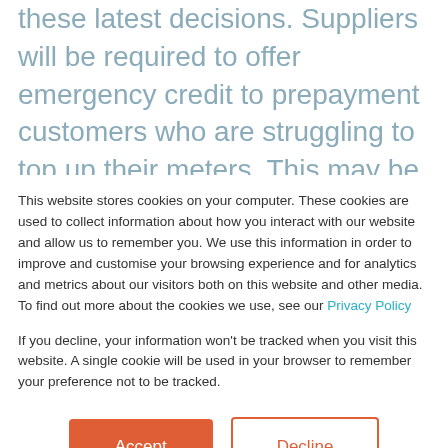these latest decisions. Suppliers will be required to offer emergency credit to prepayment customers who are struggling to top up their meters. This may be due to not being able to afford to top up at that time, mobility issues or perhaps self-isolation due to Covid-19.
In addition to this, suppliers will have to offer additional
This website stores cookies on your computer. These cookies are used to collect information about how you interact with our website and allow us to remember you. We use this information in order to improve and customise your browsing experience and for analytics and metrics about our visitors both on this website and other media. To find out more about the cookies we use, see our Privacy Policy
If you decline, your information won't be tracked when you visit this website. A single cookie will be used in your browser to remember your preference not to be tracked.